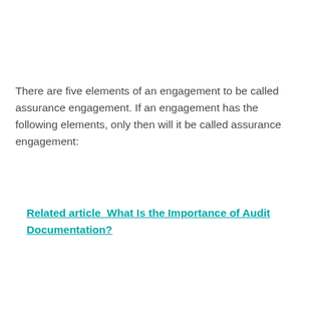There are five elements of an engagement to be called assurance engagement. If an engagement has the following elements, only then will it be called assurance engagement:
Related article  What Is the Importance of Audit Documentation?